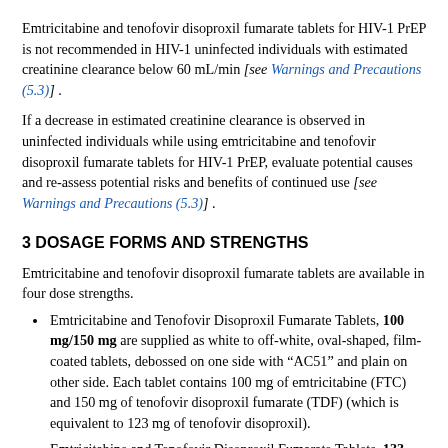Emtricitabine and tenofovir disoproxil fumarate tablets for HIV-1 PrEP is not recommended in HIV-1 uninfected individuals with estimated creatinine clearance below 60 mL/min [see Warnings and Precautions (5.3)] .
If a decrease in estimated creatinine clearance is observed in uninfected individuals while using emtricitabine and tenofovir disoproxil fumarate tablets for HIV-1 PrEP, evaluate potential causes and re-assess potential risks and benefits of continued use [see Warnings and Precautions (5.3)] .
3 DOSAGE FORMS AND STRENGTHS
Emtricitabine and tenofovir disoproxil fumarate tablets are available in four dose strengths.
Emtricitabine and Tenofovir Disoproxil Fumarate Tablets, 100 mg/150 mg are supplied as white to off-white, oval-shaped, film-coated tablets, debossed on one side with “AC51” and plain on other side. Each tablet contains 100 mg of emtricitabine (FTC) and 150 mg of tenofovir disoproxil fumarate (TDF) (which is equivalent to 123 mg of tenofovir disoproxil).
Emtricitabine and Tenofovir Disoproxil Fumarate Tablets, 133 mg/200 mg are supplied as white to off-white, modified capsule shaped, film-coated tablets, debossed on one side